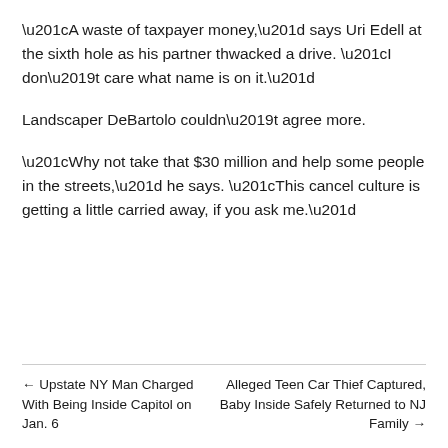“A waste of taxpayer money,” says Uri Edell at the sixth hole as his partner thwacked a drive. “I don’t care what name is on it.”
Landscaper DeBartolo couldn’t agree more.
“Why not take that $30 million and help some people in the streets,” he says. “This cancel culture is getting a little carried away, if you ask me.”
← Upstate NY Man Charged With Being Inside Capitol on Jan. 6
Alleged Teen Car Thief Captured, Baby Inside Safely Returned to NJ Family →